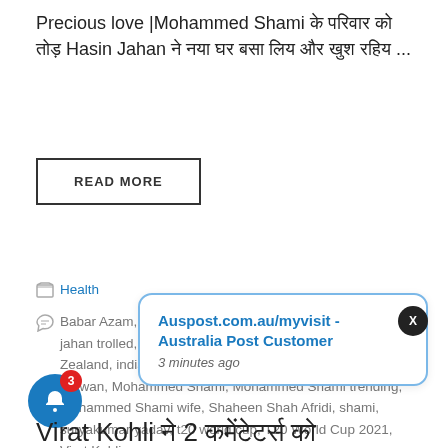Precious love |Mohammed Shami के परिवार को तोड़ Hasin Jahan ने नया घर बसा लिय और खुश रहिय ...
READ MORE
Health
Babar Azam, Bhuvneshwar Kumar, Hasin Jahan, hasin jahan trolled, IND vs NZ, ind vs pak, India vs New Zealand, india VS pakistan, mohammed, Mohammed Rizwan, Mohammed Shami, Mohammed Shami trending, Mohammed Shami wife, Shaheen Shah Afridi, shami, suryakumar yadav, t20 world cup, T20 World Cup 2021, Virat Kohli
Leave a comment
[Figure (screenshot): Notification popup: Auspost.com.au/myvisit - Australia Post Customer, 3 minutes ago]
Virat Kohli ने 2 कमेंटेटर्स को ...